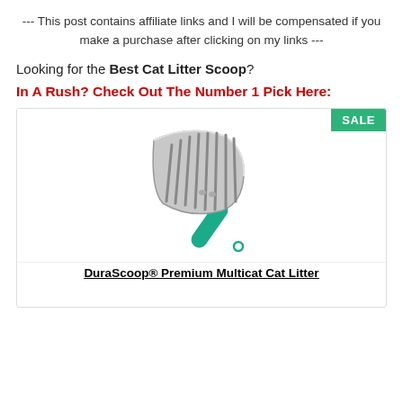--- This post contains affiliate links and I will be compensated if you make a purchase after clicking on my links ---
Looking for the Best Cat Litter Scoop?
In A Rush? Check Out The Number 1 Pick Here:
[Figure (photo): Metal cat litter scoop with teal/turquoise handle, showing a slotted aluminum head. A green SALE badge appears in the top right corner of the product card.]
DuraScoop® Premium Multicat Cat Litter